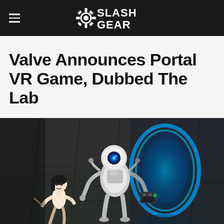SlashGear
Valve Announces Portal VR Game, Dubbed The Lab
[Figure (photo): Screenshot from Valve's Portal VR game The Lab, showing two robot characters — a small doll-like figure on the left and the white spherical robot (Atlas/ATLAS) holding a portal gun — next to a glowing blue circular portal opening in a dark industrial room.]